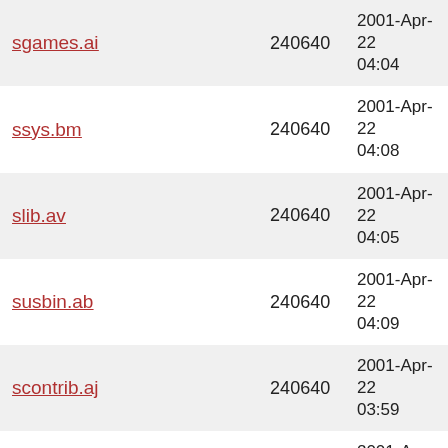| sgames.ai | 240640 | 2001-Apr-22 04:04 |
| ssys.bm | 240640 | 2001-Apr-22 04:08 |
| slib.av | 240640 | 2001-Apr-22 04:05 |
| susbin.ab | 240640 | 2001-Apr-22 04:09 |
| scontrib.aj | 240640 | 2001-Apr-22 03:59 |
| slib.ab | 240640 | 2001-Apr-22 04:04 |
| srelease.aa | 240640 | 2001-Apr-22 04:05 |
| slib.ah | 240640 | 2001-Apr-22 04:04 |
| susbin.ah | 240640 | 2001-Apr-22 04:10 |
| sshare.af | 240640 | 2001-Apr-22 04:06 |
| subin.af | 240640 | 2001-Apr-22 04:09 |